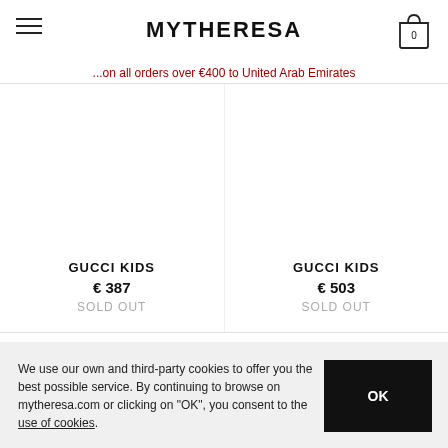MYTHERESA
...on all orders over €400 to United Arab Emirates
GUCCI KIDS
€ 387
SOLD OUT
GUCCI KIDS
€ 503
SOLD OUT
We use our own and third-party cookies to offer you the best possible service. By continuing to browse on mytheresa.com or clicking on "OK", you consent to the use of cookies.